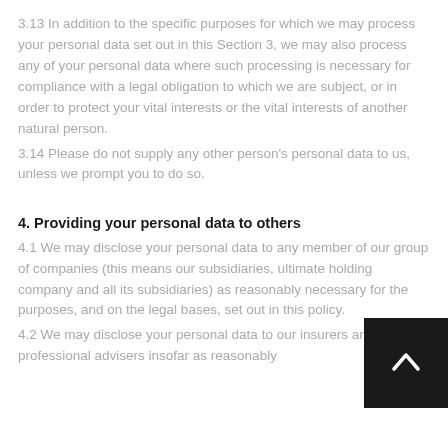3.13 In addition to the specific purposes for which we may process your personal data set out in this Section 3, we may also process any of your personal data where such processing is necessary for compliance with a legal obligation to which we are subject, or in order to protect your vital interests or the vital interests of another natural person.
3.14 Please do not supply any other person's personal data to us, unless we prompt you to do so.
4. Providing your personal data to others
4.1 We may disclose your personal data to any member of our group of companies (this means our subsidiaries, ultimate holding company and all its subsidiaries) as reasonably necessary for the purposes, and on the legal bases, set out in this policy.
4.2 We may disclose your personal data to our insurers and/or professional advisers insofar as reasonably